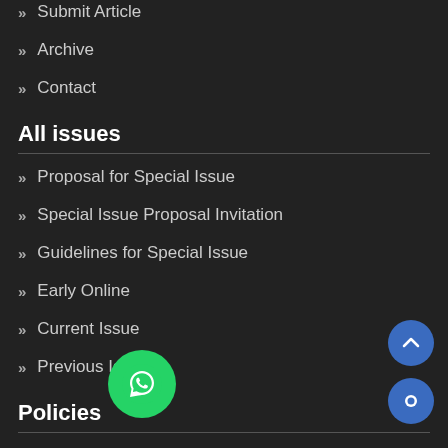Submit Article
Archive
Contact
All issues
Proposal for Special Issue
Special Issue Proposal Invitation
Guidelines for Special Issue
Early Online
Current Issue
Previous Issue
Policies
Publication Ethics
Copyright and Publishing Rights
Licensing Policy
Peer [Review Policy]
Plagiarism Policy